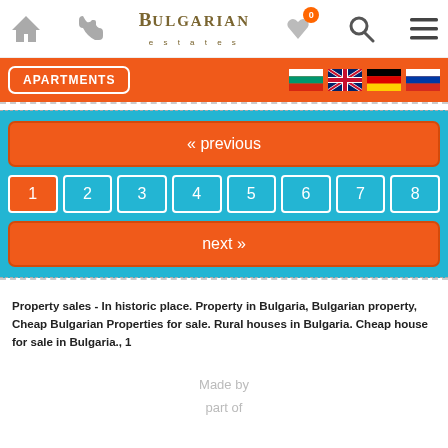Bulgarian Estates — navigation header with home, phone, logo, favorites (0), search, menu icons
APARTMENTS
[Figure (screenshot): Pagination widget with « previous button, page numbers 1-8 (page 1 active), and next » button on a teal background]
Property sales - In historic place. Property in Bulgaria, Bulgarian property, Cheap Bulgarian Properties for sale. Rural houses in Bulgaria. Cheap house for sale in Bulgaria., 1
Made by
part of